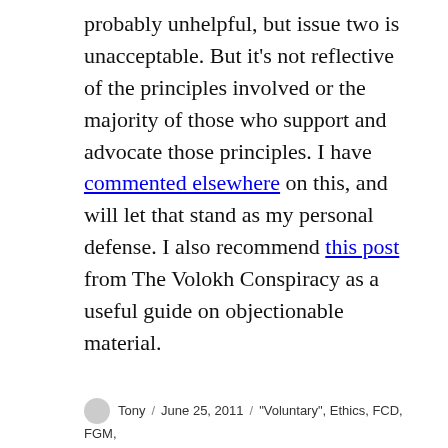probably unhelpful, but issue two is unacceptable. But it's not reflective of the principles involved or the majority of those who support and advocate those principles. I have commented elsewhere on this, and will let that stand as my personal defense. I also recommend this post from The Volokh Conspiracy as a useful guide on objectionable material.
Tony / June 25, 2011 / "Voluntary", Ethics, FCD, FGM, Locker Room, Logic, Parenting
3 thoughts on “Flawed Circumcision Defense”